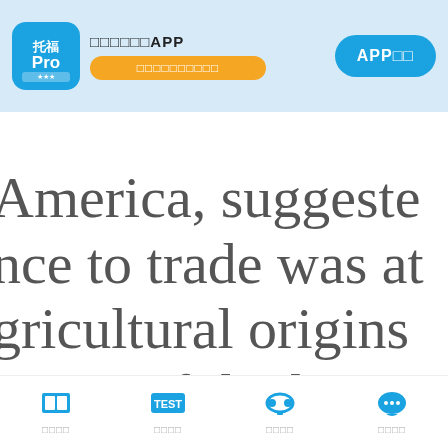[Figure (screenshot): App top banner with 托福Pro logo, Chinese app promotion text, orange button, and blue APP download button on light blue background]
□□□□
America, suggested nce to trade was at gricultural origins Many of the known
□□□□  □□□□  □□□□  □□□□